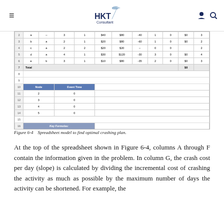HKT Consultant
[Figure (screenshot): Spreadsheet model screenshot showing rows 2-22 with activity data (a,b,c,d,e), node/event time table, and key formulas section]
Figure 6-4    Spreadsheet model to find optimal crashing plan.
At the top of the spreadsheet shown in Figure 6-4, columns A through F contain the information given in the problem. In column G, the crash cost per day (slope) is calculated by dividing the incremental cost of crashing the activity as much as possible by the maximum number of days the activity can be shortened. For example, the